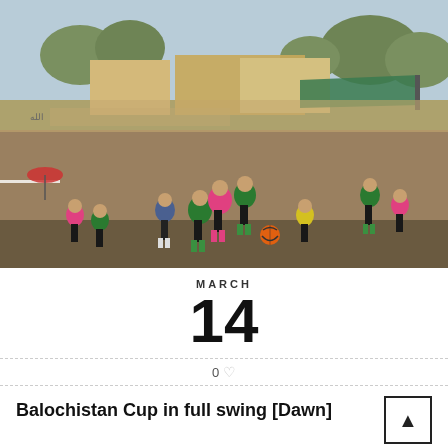[Figure (photo): Outdoor football/soccer match in progress. Players in green and pink kits competing for a ball on a dusty field. Buildings and trees visible in background. Orange ball on the ground. Spectators and other players visible.]
MARCH
14
0 ♡
Balochistan Cup in full swing [Dawn]